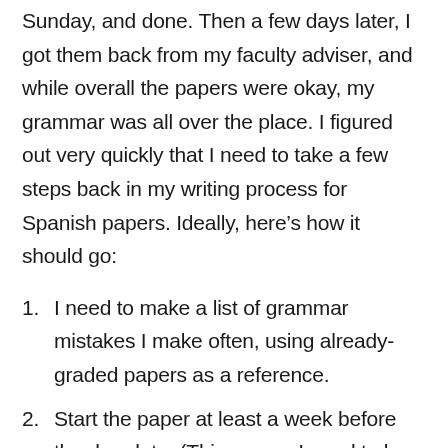Sunday, and done.  Then a few days later, I got them back from my faculty adviser, and while overall the papers were okay, my grammar was all over the place.  I figured out very quickly that I need to take a few steps back in my writing process for Spanish papers.  Ideally, here's how it should go:
I need to make a list of grammar mistakes I make often, using already-graded papers as a reference.
Start the paper at least a week before the due date.  (This means I need to be diligent about finishing the books I'm supposed to